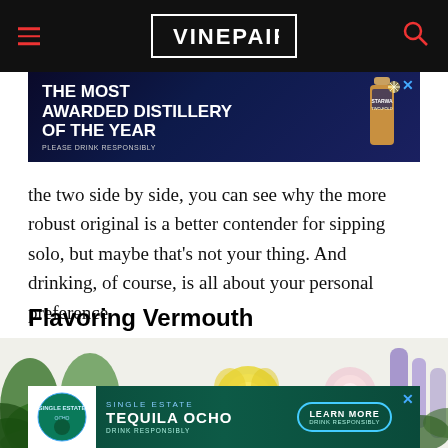VinePair navigation header
[Figure (other): Advertisement banner: 'THE MOST AWARDED DISTILLERY OF THE YEAR' with a bottle and Starward branding on dark blue background]
the two side by side, you can see why the more robust original is a better contender for sipping solo, but maybe that’s not your thing. And drinking, of course, is all about your personal preference.
Flavoring Vermouth
[Figure (photo): Photo of various herbs, ferns, and flowers (yellow rose, pink flower, lavender) arranged on a white background, used to illustrate vermouth flavoring botanicals]
[Figure (other): Advertisement banner: 'SINGLE ESTATE TEQUILA OCHO' with a teal background, bottle image, and 'LEARN MORE' button]